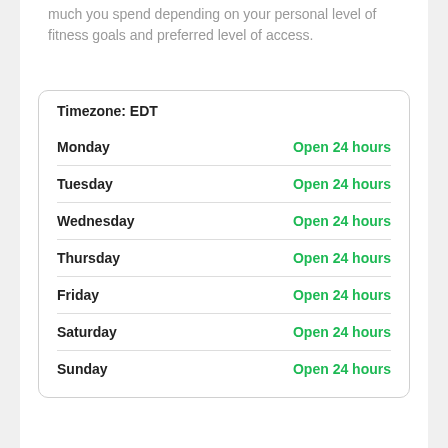much you spend depending on your personal level of fitness goals and preferred level of access.
| Day | Hours |
| --- | --- |
| Timezone: EDT |  |
| Monday | Open 24 hours |
| Tuesday | Open 24 hours |
| Wednesday | Open 24 hours |
| Thursday | Open 24 hours |
| Friday | Open 24 hours |
| Saturday | Open 24 hours |
| Sunday | Open 24 hours |